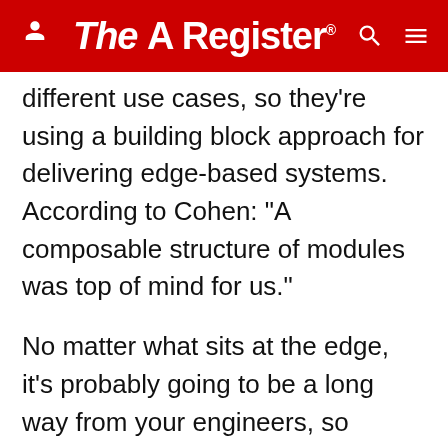The Register
different use cases, so they're using a building block approach for delivering edge-based systems. According to Cohen: "A composable structure of modules was top of mind for us."
No matter what sits at the edge, it's probably going to be a long way from your engineers, so automation for remote provisioning and configuration becomes important. That automation must span IoT, networking, cloud infrastructure and application software provisioning.
A critical part of OpenStack's edge story is Akraino, the edge stack product launched by AT&T, Intel and Wind River under the auspices of the Linux Foundation in